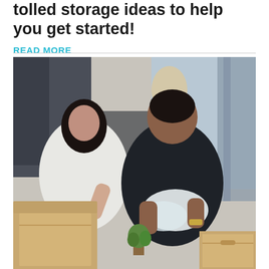tolled storage ideas to help you get started!
READ MORE
[Figure (photo): A man and woman unpacking cardboard moving boxes in an apartment. The woman on the left wears a white shirt and looks down writing or reading. The man in the center-right wears a dark t-shirt and handles bubble-wrapped items. Several cardboard boxes are visible in the foreground and background, along with a small potted plant.]